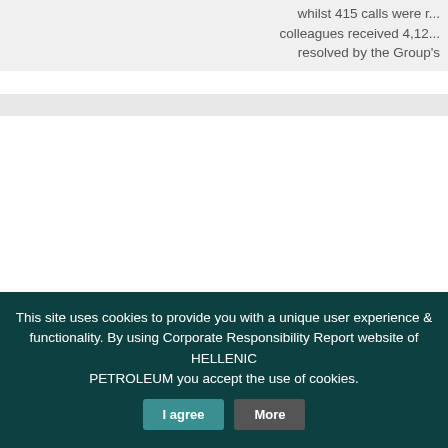whilst 415 calls were received. Our colleagues received 4,12... resolved by the Group's
This site uses cookies to provide you with a unique user experience & functionality. By using Corporate Responsibility Report website of HELLENIC PETROLEUM you accept the use of cookies. I agree More